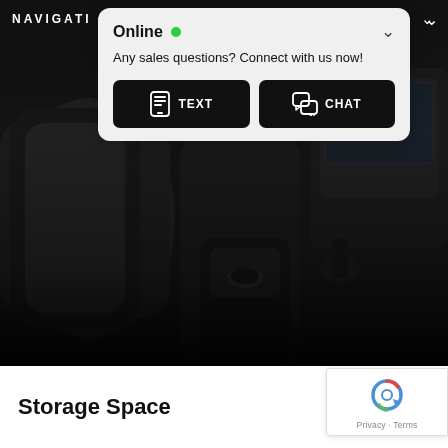NAVIGATI
[Figure (screenshot): Online chat popup widget with green dot status indicator, message 'Any sales questions? Connect with us now!', and two dark buttons labeled TEXT and CHAT with icons]
[Figure (photo): Car interior photo showing dark leather seats, center console, and dashboard of a Lincoln Navigator]
Storage Space